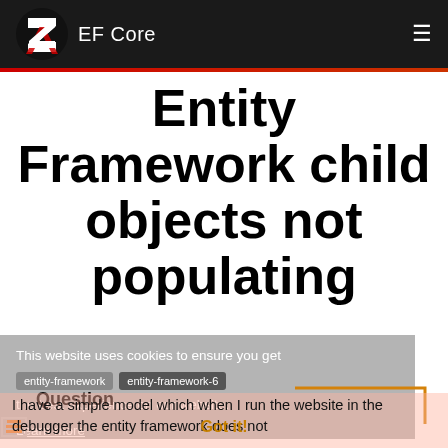EF Core
Entity Framework child objects not populating
This website uses cookies to ensure you get the best experience on our website.
entity-framework   entity-framework-6
Learn more
Question
I have a simple model which when I run the website in the debugger the entity framework does not
Got it!